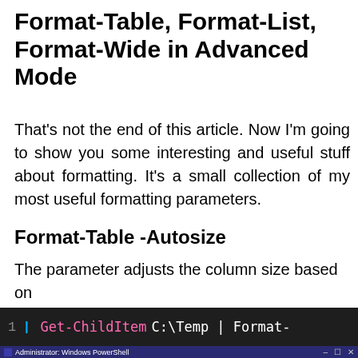Format-Table, Format-List, Format-Wide in Advanced Mode
That's not the end of this article. Now I'm going to show you some interesting and useful stuff about formatting. It's a small collection of my most useful formatting parameters.
Format-Table -Autosize
The parameter adjusts the column size based on the width of the data.
[Figure (screenshot): Code editor line showing: 1 | Get-ChildItem C:\Temp | Format-T (truncated), with dark background, pink and white monospace text]
[Figure (screenshot): Windows PowerShell terminal window titled 'Administrator: Windows PowerShell' with dark blue background showing: PS C:\> Get-ChildItem C:\Temp and Directory: C:\Temp]